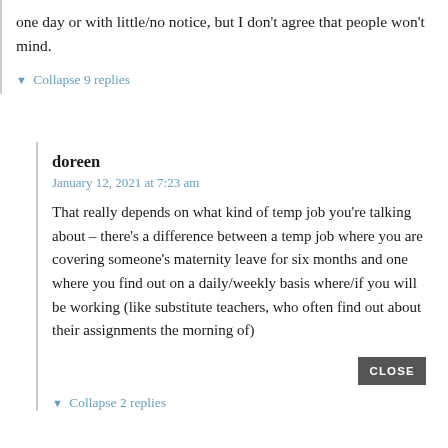one day or with little/no notice, but I don't agree that people won't mind.
▼ Collapse 9 replies
doreen
January 12, 2021 at 7:23 am
That really depends on what kind of temp job you're talking about – there's a difference between a temp job where you are covering someone's maternity leave for six months and one where you find out on a daily/weekly basis where/if you will be working (like substitute teachers, who often find out about their assignments the morning of)
▼ Collapse 2 replies